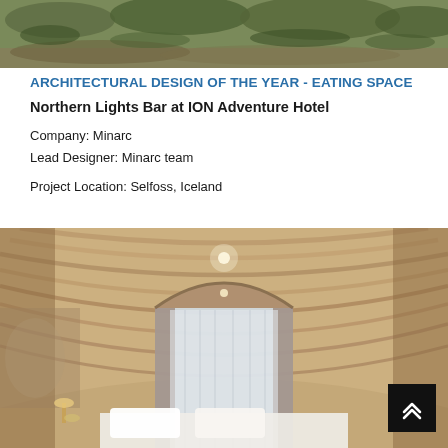[Figure (photo): Top portion of outdoor landscape photo showing green mossy hillside/rocky terrain at dusk or overcast light]
ARCHITECTURAL DESIGN OF THE YEAR - EATING SPACE
Northern Lights Bar at ION Adventure Hotel
Company: Minarc
Lead Designer: Minarc team
Project Location: Selfoss, Iceland
[Figure (photo): Interior photo of a hotel room/bar with a dramatic wooden barrel-vaulted ceiling made of layered curved wood slats, large arched window with sheer curtains, warm lighting]